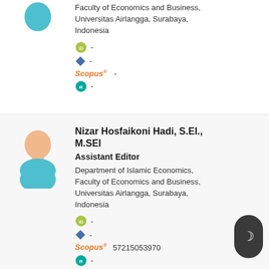Faculty of Economics and Business, Universitas Airlangga, Surabaya, Indonesia
[Figure (illustration): ORCID ID icon (green circle with ID text)]
-
[Figure (illustration): Semantic Scholar icon (blue diamond shape)]
-
Scopus -
[Figure (illustration): ResearchGate icon (teal circle with figure)]
-
[Figure (illustration): Generic user avatar: teal person silhouette with peach face]
Nizar Hosfaikoni Hadi, S.EI., M.SEI
Assistant Editor
Department of Islamic Economics, Faculty of Economics and Business, Universitas Airlangga, Surabaya, Indonesia
ID -
-
Scopus 57215053970
-